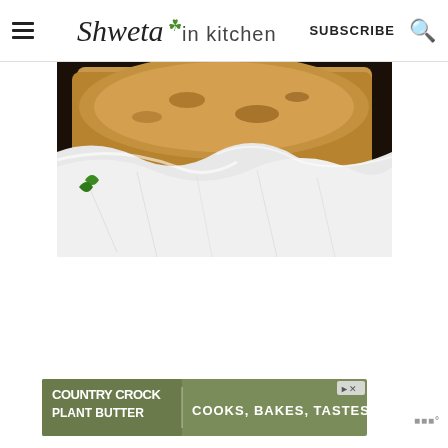Shweta in Kitchen — SUBSCRIBE
[Figure (photo): Close-up photo of flatbreads/rotis in a basket wrapped with a white cloth/cheesecloth, dark background]
[Figure (infographic): Country Crock Plant Butter advertisement banner: 'COOKS, BAKES, TASTES LIKE BUTTER']